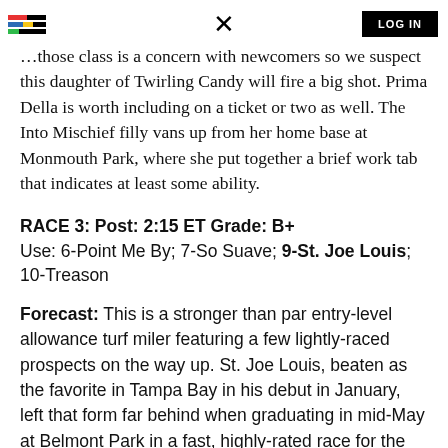LOG IN
...those class is a concern with newcomers so we suspect this daughter of Twirling Candy will fire a big shot. Prima Della is worth including on a ticket or two as well. The Into Mischief filly vans up from her home base at Monmouth Park, where she put together a brief work tab that indicates at least some ability.
RACE 3: Post: 2:15 ET Grade: B+
Use: 6-Point Me By; 7-So Suave; 9-St. Joe Louis; 10-Treason
Forecast: This is a stronger than par entry-level allowance turf miler featuring a few lightly-raced prospects on the way up. St. Joe Louis, beaten as the favorite in Tampa Bay in his debut in January, left that form far behind when graduating in mid-May at Belmont Park in a fast, highly-rated race for the always-powerful jockey/trainer team of...